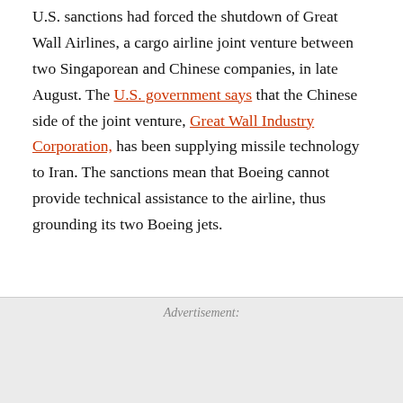U.S. sanctions had forced the shutdown of Great Wall Airlines, a cargo airline joint venture between two Singaporean and Chinese companies, in late August. The U.S. government says that the Chinese side of the joint venture, Great Wall Industry Corporation, has been supplying missile technology to Iran. The sanctions mean that Boeing cannot provide technical assistance to the airline, thus grounding its two Boeing jets.
Advertisement: